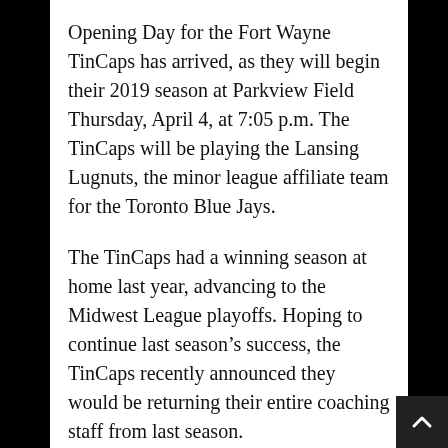Opening Day for the Fort Wayne TinCaps has arrived, as they will begin their 2019 season at Parkview Field Thursday, April 4, at 7:05 p.m. The TinCaps will be playing the Lansing Lugnuts, the minor league affiliate team for the Toronto Blue Jays.
The TinCaps had a winning season at home last year, advancing to the Midwest League playoffs. Hoping to continue last season's success, the TinCaps recently announced they would be returning their entire coaching staff from last season.
“It’s great for us to know that not only will we have a group capable of developing future major league players, but also one that appreciates Fort Wayne and is committed to